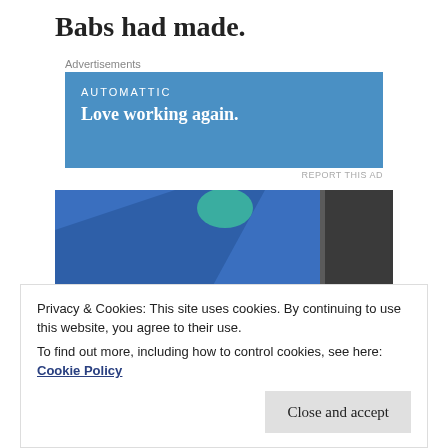Babs had made.
Advertisements
[Figure (screenshot): Blue advertisement banner for Automattic with tagline 'Love working again.']
REPORT THIS AD
[Figure (photo): Photograph showing a blue fabric/cloth draped over a wooden surface, with a bowl containing green vegetables (possibly lettuce or cabbage) in the foreground, and some food items at the bottom.]
Privacy & Cookies: This site uses cookies. By continuing to use this website, you agree to their use.
To find out more, including how to control cookies, see here: Cookie Policy
Close and accept